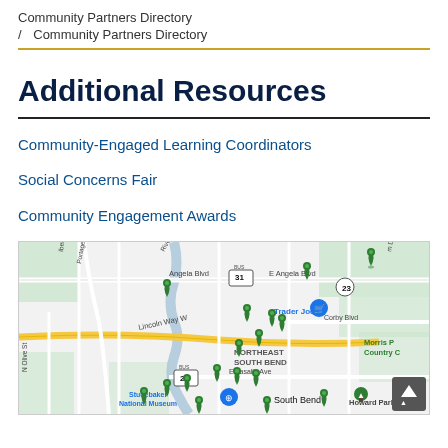Community Partners Directory / Community Partners Directory
Additional Resources
Community-Engaged Learning Coordinators
Social Concerns Fair
Community Engagement Awards
[Figure (map): Google Maps view of South Bend, Indiana area showing multiple green location pins around Notre Dame / Northeast South Bend area, with street labels including Angela Blvd, Lincoln Way W, E Lasalle Ave, Corby Blvd, and landmarks like Trader Joe's, Studebaker National Museum, Howard Park, Morris P Country C.]